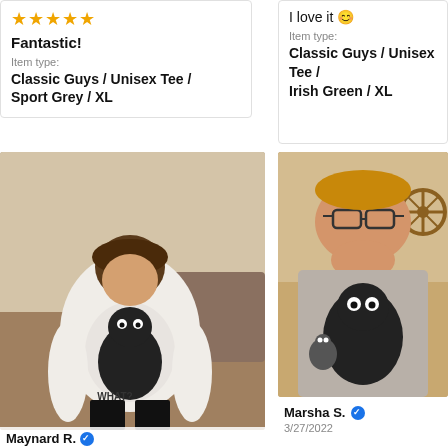[Figure (other): Five gold star rating icons]
Fantastic!
Item type:
Classic Guys / Unisex Tee / Sport Grey / XL
I love it 😊
Item type:
Classic Guys / Unisex Tee / Irish Green / XL
[Figure (photo): Person wearing a white t-shirt with black cat graphic that says WHAT?]
Maynard R.
[Figure (photo): Person wearing a grey t-shirt with black cat graphic, taking a selfie]
Marsha S.
3/27/2022